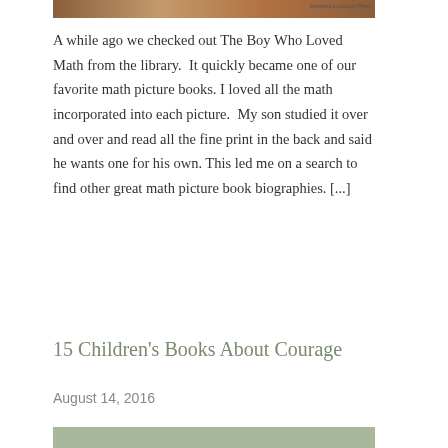[Figure (photo): Top portion of a book cover image with warm brown/orange tones, partially cropped, with small text reading 'illustrated by LeUyen Pham']
A while ago we checked out The Boy Who Loved Math from the library.  It quickly became one of our favorite math picture books. I loved all the math incorporated into each picture.  My son studied it over and over and read all the fine print in the back and said he wants one for his own. This led me on a search to find other great math picture book biographies. [...]
15 Children's Books About Courage
August 14, 2016
[Figure (photo): Bottom portion of another book cover or image with sage green/olive background color, partially visible]